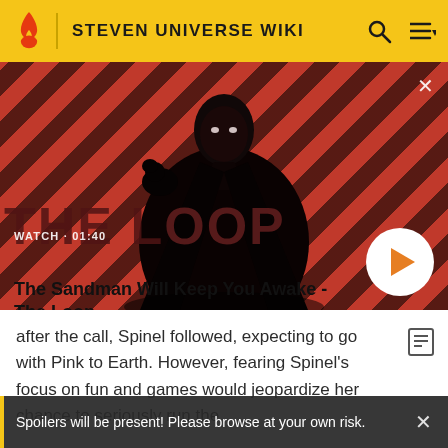STEVEN UNIVERSE WIKI
[Figure (screenshot): Video thumbnail showing a dark figure (person in black cape with a bird on shoulder) against a red diagonal-striped background. Shows 'WATCH · 01:40' label and 'THE LOOP' text in background.]
The Sandman Will Keep You Awake - The Loop
after the call, Spinel followed, expecting to go with Pink to Earth. However, fearing Spinel's focus on fun and games would jeopardize her chance to seriously run the
Spoilers will be present! Please browse at your own risk.